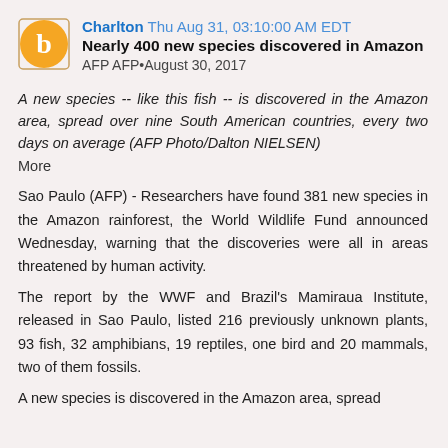Charlton Thu Aug 31, 03:10:00 AM EDT
Nearly 400 new species discovered in Amazon
AFP AFP•August 30, 2017
A new species -- like this fish -- is discovered in the Amazon area, spread over nine South American countries, every two days on average (AFP Photo/Dalton NIELSEN) More
Sao Paulo (AFP) - Researchers have found 381 new species in the Amazon rainforest, the World Wildlife Fund announced Wednesday, warning that the discoveries were all in areas threatened by human activity.
The report by the WWF and Brazil's Mamiraua Institute, released in Sao Paulo, listed 216 previously unknown plants, 93 fish, 32 amphibians, 19 reptiles, one bird and 20 mammals, two of them fossils.
A new species is discovered in the Amazon area, spread